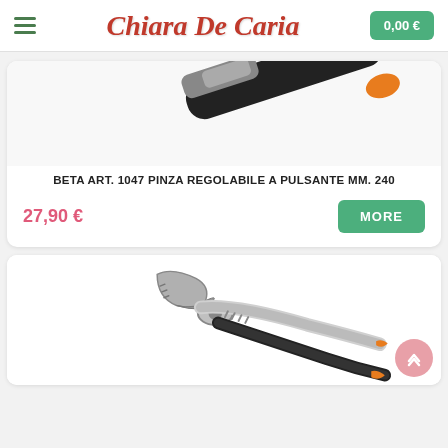Chiara De Caria — 0,00 €
[Figure (photo): Close-up photo of a black adjustable pliers handle with orange accent tip]
BETA ART. 1047 PINZA REGOLABILE A PULSANTE MM. 240
27,90 €
MORE
[Figure (photo): Photo of silver/chrome adjustable groove-joint pliers with black and orange handles]